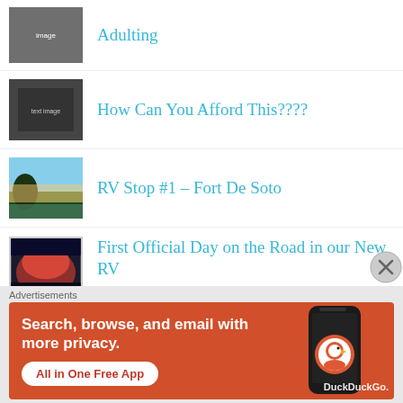Adulting
How Can You Afford This????
RV Stop #1 – Fort De Soto
First Official Day on the Road in our New RV
Part II – Finally Exploring The Grand Canyon
To the Little Town of Pay-Ola,
Advertisements
[Figure (screenshot): DuckDuckGo app advertisement banner: orange background, text 'Search, browse, and email with more privacy. All in One Free App', DuckDuckGo logo and phone image on right]